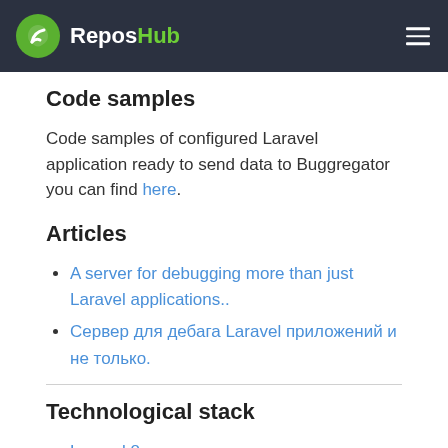ReposHub
Code samples
Code samples of configured Laravel application ready to send data to Buggregator you can find here.
Articles
A server for debugging more than just Laravel applications..
Сервер для дебага Laravel приложений и не только.
Technological stack
Laravel 8
InertiaJs
Swoole Http/Websocket/TCP server
Vue